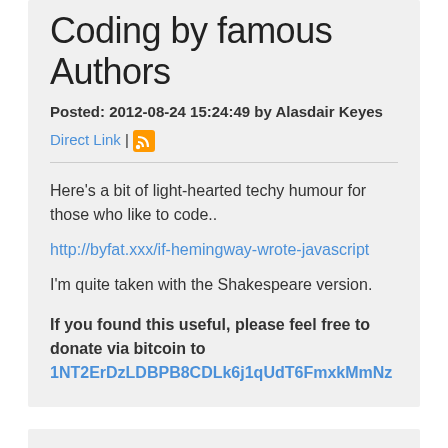Coding by famous Authors
Posted: 2012-08-24 15:24:49 by Alasdair Keyes
Direct Link | [RSS icon]
Here's a bit of light-hearted techy humour for those who like to code..
http://byfat.xxx/if-hemingway-wrote-javascript
I'm quite taken with the Shakespeare version.
If you found this useful, please feel free to donate via bitcoin to 1NT2ErDzLDBPB8CDLk6j1qUdT6FmxkMmNz
Sendmail takes a long